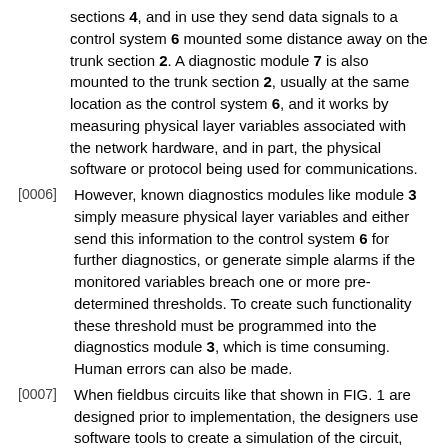sections 4, and in use they send data signals to a control system 6 mounted some distance away on the trunk section 2. A diagnostic module 7 is also mounted to the trunk section 2, usually at the same location as the control system 6, and it works by measuring physical layer variables associated with the network hardware, and in part, the physical software or protocol being used for communications.
[0006] However, known diagnostics modules like module 3 simply measure physical layer variables and either send this information to the control system 6 for further diagnostics, or generate simple alarms if the monitored variables breach one or more pre-determined thresholds. To create such functionality these threshold must be programmed into the diagnostics module 3, which is time consuming. Human errors can also be made.
[0007] When fieldbus circuits like that shown in FIG. 1 are designed prior to implementation, the designers use software tools to create a simulation of the circuit, which can be tested.